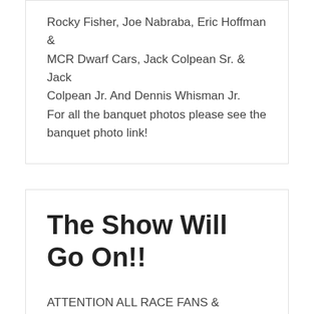Rocky Fisher, Joe Nabraba, Eric Hoffman & MCR Dwarf Cars, Jack Colpean Sr. & Jack Colpean Jr. And Dennis Whisman Jr. For all the banquet photos please see the banquet photo link!
The Show Will Go On!!
ATTENTION ALL RACE FANS & CHAMPIONS: Our 54th Annual MARFC Awards Banquet will proceed as planned no matter what Mother Nature has in store for the weather on